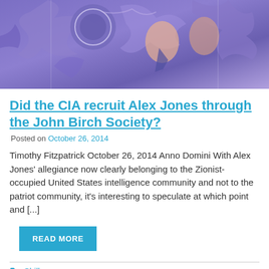[Figure (illustration): Stylized purple/blue illustration with puzzle piece shapes and figures, appears to show a badge or seal at top.]
Did the CIA recruit Alex Jones through the John Birch Society?
Posted on October 26, 2014
Timothy Fitzpatrick October 26, 2014 Anno Domini With Alex Jones' allegiance now clearly belonging to the Zionist-occupied United States intelligence community and not to the patriot community, it's interesting to speculate at which point and [...]
READ MORE
Shills